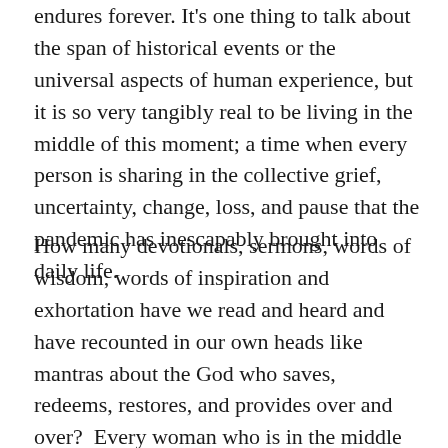endures forever. It's one thing to talk about the span of historical events or the universal aspects of human experience, but it is so very tangibly real to be living in the middle of this moment; a time when every person is sharing in the collective grief, uncertainty, change, loss, and pause that the pandemic has inescapably brought into daily life.
How many devotionals, sermons, words of wisdom, words of inspiration and exhortation have we read and heard and have recounted in our own heads like mantras about the God who saves, redeems, restores, and provides over and over?  Every woman who is in the middle of feeling like there is not enough time, not enough brain space, not enough help, not enough of her. Every child who is saying enough of virtual learning, not enough outdoor